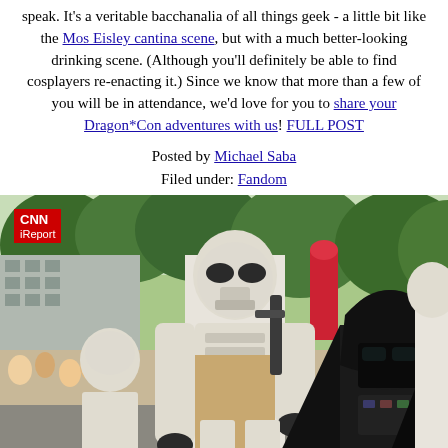speak. It's a veritable bacchanalia of all things geek - a little bit like the Mos Eisley cantina scene, but with a much better-looking drinking scene. (Although you'll definitely be able to find cosplayers re-enacting it.) Since we know that more than a few of you will be in attendance, we'd love for you to share your Dragon*Con adventures with us! FULL POST
Posted by Michael Saba
Filed under: Fandom
[Figure (photo): Photo of Star Wars cosplayers (Stormtroopers and Darth Vader) marching in a parade at Dragon*Con, outdoors with trees and crowd in background. CNN iReport badge in top-left corner.]